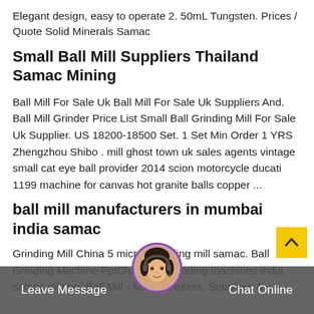Elegant design, easy to operate 2. 50mL Tungsten. Prices / Quote Solid Minerals Samac
Small Ball Mill Suppliers Thailand Samac Mining
Ball Mill For Sale Uk Ball Mill For Sale Uk Suppliers And. Ball Mill Grinder Price List Small Ball Grinding Mill For Sale Uk Supplier. US 18200-18500 Set. 1 Set Min Order 1 YRS Zhengzhou Shibo . mill ghost town uk sales agents vintage small cat eye ball provider 2014 scion motorcycle ducati 1199 machine for canvas hot granite balls copper ...
ball mill manufacturers in mumbai india samac
Grinding Mill China 5 micron grinding mill samac. Ball Grinding Machine PptChina fine grinding machines india samac mining. Ball Mill - Manufacturers, Suppliers &
Leave Message   Chat Online